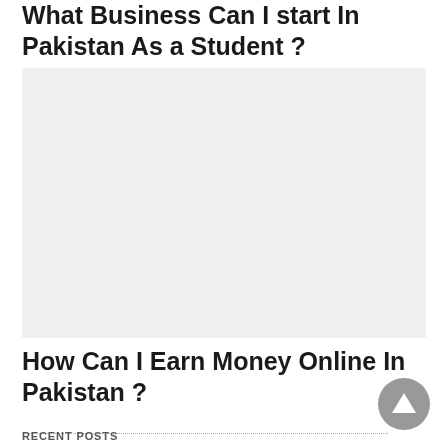What Business Can I start In Pakistan As a Student ?
[Figure (photo): Gray placeholder image block]
How Can I Earn Money Online In Pakistan ?
RECENT POSTS